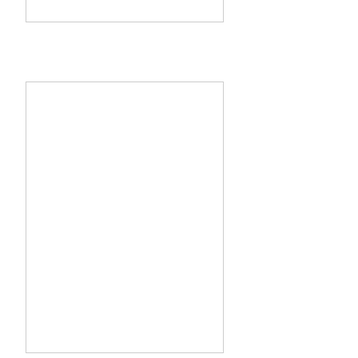[Figure (photo): Product image box - empty/white rectangle with border]
Ultra-Dex Square SC Min. Qty 1
USD 6.41
Item techno specification Carbide in Applicatio